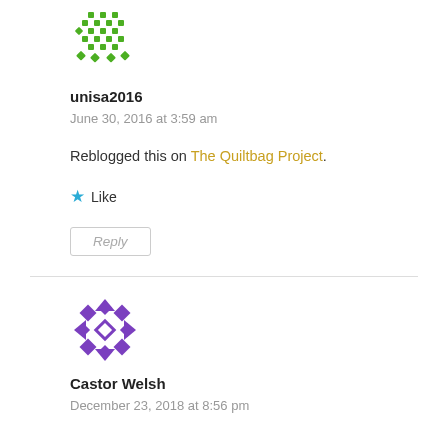[Figure (illustration): Green pixelated avatar icon for user unisa2016]
unisa2016
June 30, 2016 at 3:59 am
Reblogged this on The Quiltbag Project.
★ Like
Reply
[Figure (illustration): Purple pixelated avatar icon for user Castor Welsh]
Castor Welsh
December 23, 2018 at 8:56 pm